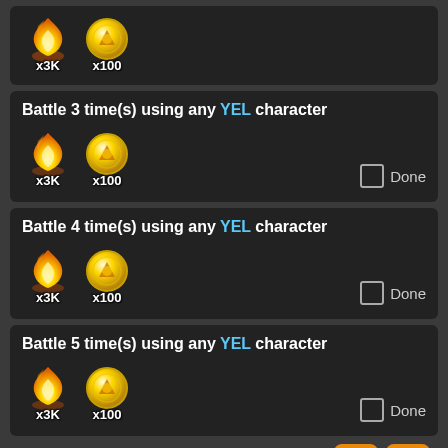[Figure (screenshot): Top partial card showing x3K and x100 reward icons (flame and coin) cut off at top]
Battle 3 time(s) using any YEL character
[Figure (screenshot): Reward icons: flame x3K and coin x100, with Done checkbox]
Battle 4 time(s) using any YEL character
[Figure (screenshot): Reward icons: flame x3K and coin x100, with Done checkbox]
Battle 5 time(s) using any YEL character
[Figure (screenshot): Reward icons: flame x3K and coin x100, with Done checkbox, and navigation buttons (up arrow and menu)]